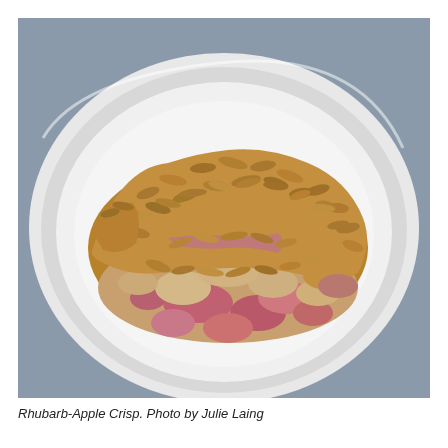[Figure (photo): A serving of Rhubarb-Apple Crisp on a white plate. The dish shows chunks of cooked rhubarb and apple topped with a golden oat crumble topping, served on a round white ceramic plate against a grey background.]
Rhubarb-Apple Crisp. Photo by Julie Laing